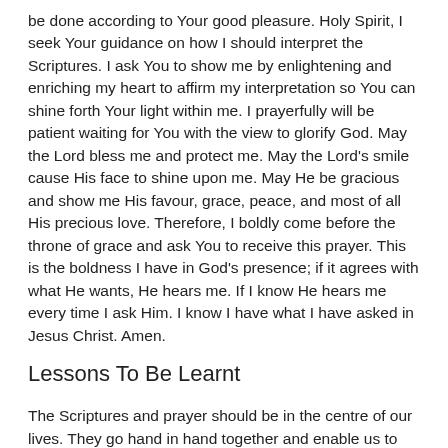be done according to Your good pleasure. Holy Spirit, I seek Your guidance on how I should interpret the Scriptures. I ask You to show me by enlightening and enriching my heart to affirm my interpretation so You can shine forth Your light within me. I prayerfully will be patient waiting for You with the view to glorify God. May the Lord bless me and protect me. May the Lord's smile cause His face to shine upon me. May He be gracious and show me His favour, grace, peace, and most of all His precious love. Therefore, I boldly come before the throne of grace and ask You to receive this prayer. This is the boldness I have in God's presence; if it agrees with what He wants, He hears me. If I know He hears me every time I ask Him. I know I have what I have asked in Jesus Christ. Amen.
Lessons To Be Learnt
The Scriptures and prayer should be in the centre of our lives. They go hand in hand together and enable us to follow the teachings of Christ. God's Word helps us to ask for His wisdom, knowledge, and understanding to help us know and